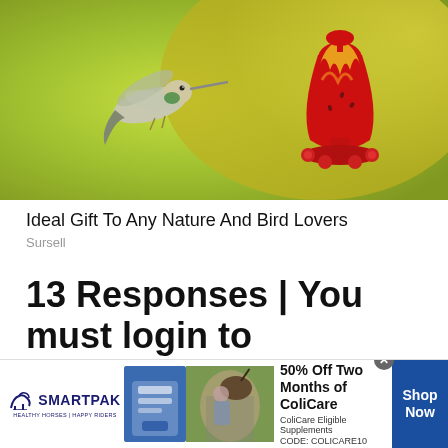[Figure (photo): A hummingbird hovering next to a decorative red and yellow glass hummingbird feeder, on a green and yellow blurred background]
Ideal Gift To Any Nature And Bird Lovers
Sursell
13 Responses | You must login to reply
[Figure (photo): SmartPak advertisement banner: SmartPak logo with horse icon, product image, horse and rider photo, text '50% Off Two Months of ColiCare, ColiCare Eligible Supplements, CODE: COLICARE10', and a blue 'Shop Now' button]